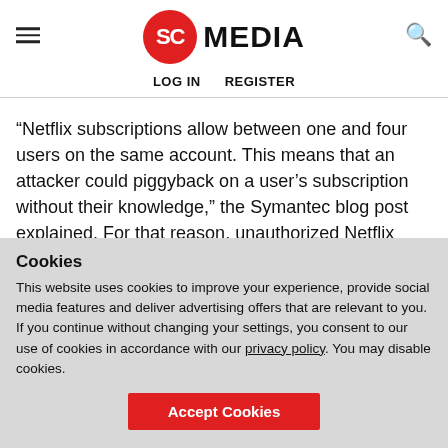SC MEDIA — LOG IN   REGISTER
“Netflix subscriptions allow between one and four users on the same account. This means that an attacker could piggyback on a user's subscription without their knowledge,” the Symantec blog post explained. For that reason, unauthorized Netflix service providers typically ask their customers not to modify passwords or other account information...
Cookies
This website uses cookies to improve your experience, provide social media features and deliver advertising offers that are relevant to you. If you continue without changing your settings, you consent to our use of cookies in accordance with our privacy policy. You may disable cookies.